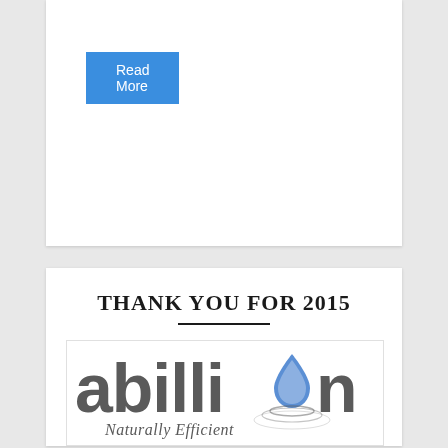[Figure (other): Read More button - blue rectangular button with white text]
THANK YOU FOR 2015
[Figure (logo): abillion logo with water drop replacing the letter 'o', tagline 'Naturally Efficient' below in italic script]